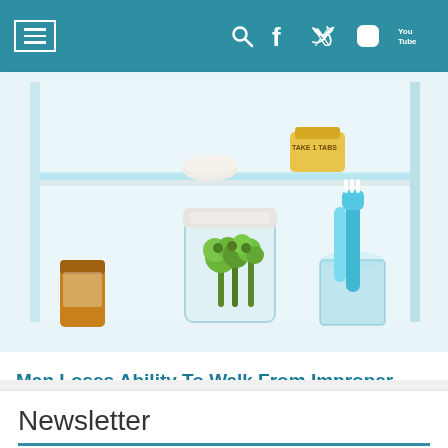Navigation bar with menu, search, Facebook, Twitter, Instagram, YouTube icons
[Figure (photo): Medicine cabinet shelf with a glass jar containing broccoli, a blue toothbrush in a glass cup, an amber pill bottle, and other items on shelves with a white/light blue background]
Man Loses Ability To Walk From Improper Supplement Use. Here's What You Need To Know
Newsletter